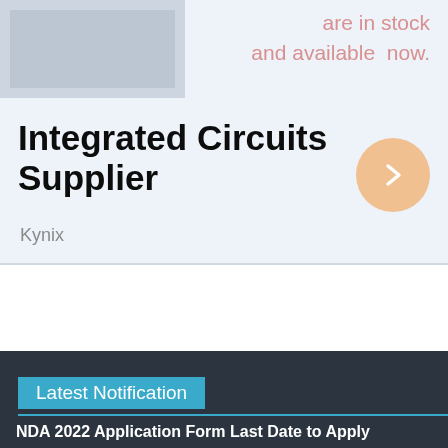[Figure (illustration): Top advertisement banner with a placeholder image on the left and pink/salmon text on the right reading 'are in stock and available now.' on a light blue-grey background]
are in stock and available now.
Integrated Circuits Supplier
Kynix
Latest Notification
NDA 2022 Application Form Last Date to Apply